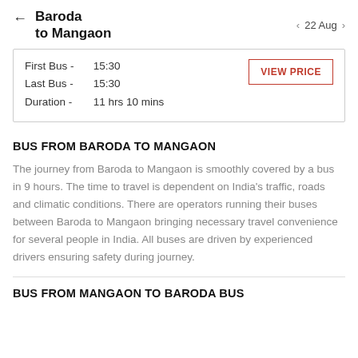Baroda to Mangaon  ← | 22 Aug ›
| First Bus - | 15:30 |
| Last Bus - | 15:30 |
| Duration - | 11 hrs 10 mins |
BUS FROM BARODA TO MANGAON
The journey from Baroda to Mangaon is smoothly covered by a bus in 9 hours. The time to travel is dependent on India's traffic, roads and climatic conditions. There are operators running their buses between Baroda to Mangaon bringing necessary travel convenience for several people in India. All buses are driven by experienced drivers ensuring safety during journey.
BUS FROM MANGAON TO BARODA BUS